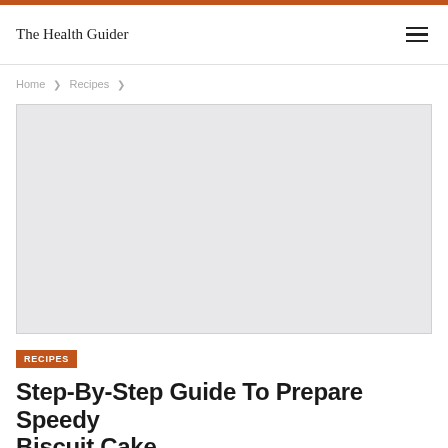The Health Guider
Home  ❯  Recipes  ❯
[Figure (photo): Large placeholder image area (light gray rectangle) for a recipe hero image]
RECIPES
Step-By-Step Guide To Prepare Speedy Biscuit Cake